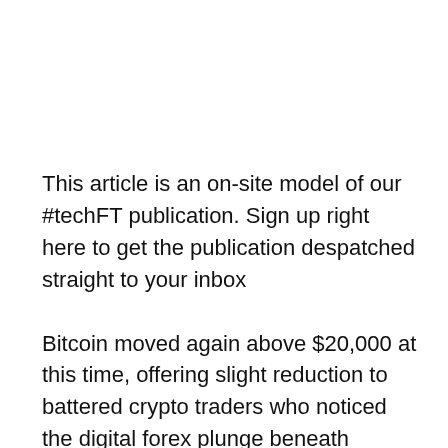This article is an on-site model of our #techFT publication. Sign up right here to get the publication despatched straight to your inbox
Bitcoin moved again above $20,000 at this time, offering slight reduction to battered crypto traders who noticed the digital forex plunge beneath $18,000 on the weekend.
As Scott Chipolina and Joshua Oliver report, a drop beneath $20,000 can set off pressured liquidations of huge leveraged bets. Over the weekend, greater than $600mn value of leveraged positions had been